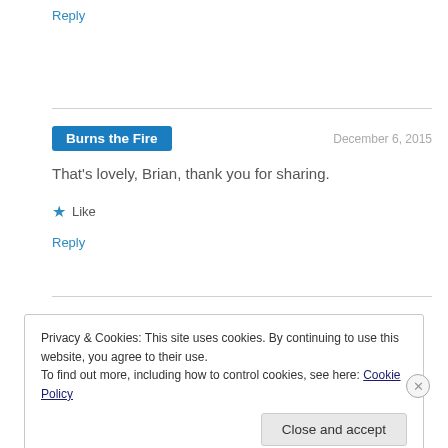Reply
Burns the Fire
December 6, 2015
That's lovely, Brian, thank you for sharing.
★ Like
Reply
Privacy & Cookies: This site uses cookies. By continuing to use this website, you agree to their use.
To find out more, including how to control cookies, see here: Cookie Policy
Close and accept